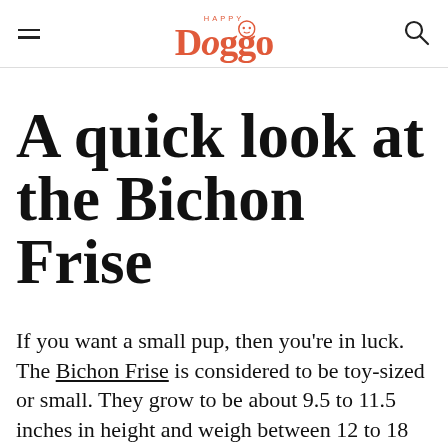HAPPY Doggo
A quick look at the Bichon Frise
If you want a small pup, then you're in luck. The Bichon Frise is considered to be toy-sized or small. They grow to be about 9.5 to 11.5 inches in height and weigh between 12 to 18 pounds. In other words, this pooch will make a